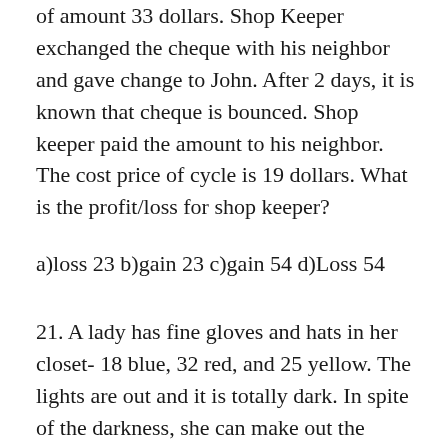of amount 33 dollars. Shop Keeper exchanged the cheque with his neighbor and gave change to John. After 2 days, it is known that cheque is bounced. Shop keeper paid the amount to his neighbor. The cost price of cycle is 19 dollars. What is the profit/loss for shop keeper?
a)loss 23 b)gain 23 c)gain 54 d)Loss 54
21. A lady has fine gloves and hats in her closet- 18 blue, 32 red, and 25 yellow. The lights are out and it is totally dark. In spite of the darkness, she can make out the difference between a hat and a glove. She takes out an item out of the closet only if she is sure that if it is a glove. How many gloves must she take out to make sure she has a pair of each color?